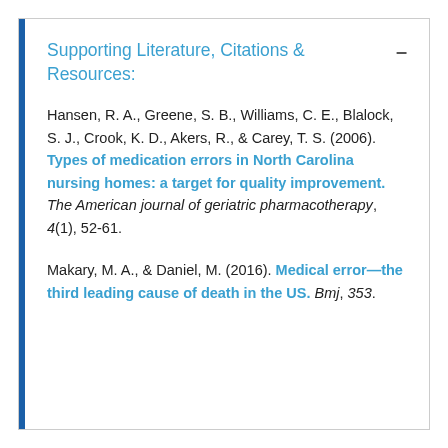Supporting Literature, Citations & Resources:
Hansen, R. A., Greene, S. B., Williams, C. E., Blalock, S. J., Crook, K. D., Akers, R., & Carey, T. S. (2006). Types of medication errors in North Carolina nursing homes: a target for quality improvement. The American journal of geriatric pharmacotherapy, 4(1), 52-61.
Makary, M. A., & Daniel, M. (2016). Medical error—the third leading cause of death in the US. Bmj, 353.